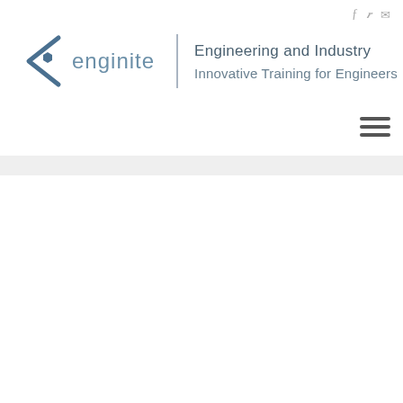enginite | Engineering and Industry | Innovative Training for Engineers
[Figure (logo): enginite logo with stylized angular bracket and hexagon icon, accompanied by text 'Engineering and Industry' and 'Innovative Training for Engineers']